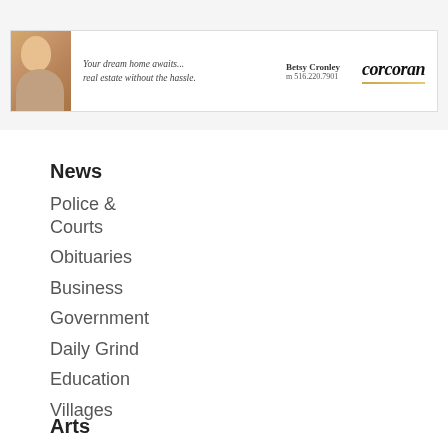[Figure (other): Corcoran real estate advertisement banner. Shows a woman photo on left, italic tagline 'Your dream home awaits... real estate without the hassle.', agent name 'Betsy Cronley', phone 'm 516.220.7901', and the Corcoran logo in bold italic script.]
News
Police & Courts
Obituaries
Business
Government
Daily Grind
Education
Villages
Arts